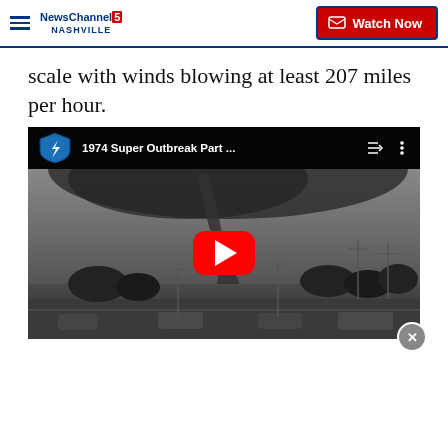NewsChannel 5 Nashville | Watch Now
scale with winds blowing at least 207 miles per hour.
[Figure (screenshot): YouTube video embed showing '1974 Super Outbreak Part ...' with a black-and-white photograph of a tornado striking an area with cars and trees visible in the foreground. A large red YouTube play button is centered on the image.]